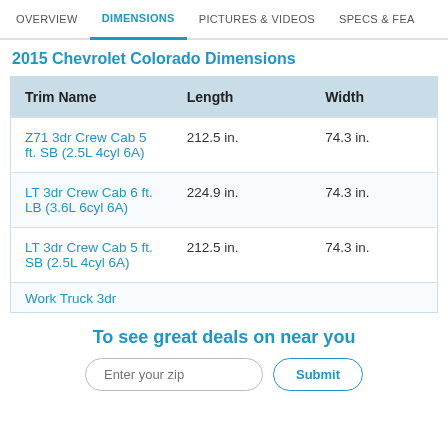OVERVIEW | DIMENSIONS | PICTURES & VIDEOS | SPECS & FEA
2015 Chevrolet Colorado Dimensions
| Trim Name | Length | Width |
| --- | --- | --- |
| Z71 3dr Crew Cab 5 ft. SB (2.5L 4cyl 6A) | 212.5 in. | 74.3 in. |
| LT 3dr Crew Cab 6 ft. LB (3.6L 6cyl 6A) | 224.9 in. | 74.3 in. |
| LT 3dr Crew Cab 5 ft. SB (2.5L 4cyl 6A) | 212.5 in. | 74.3 in. |
| Work Truck 3dr… |  |  |
To see great deals on near you
Enter your zip | Submit